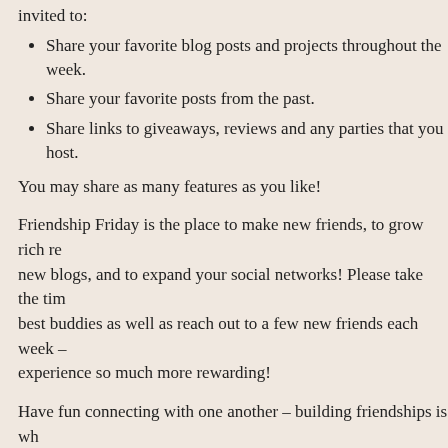Share your favorite blog posts and projects throughout the week.
Share your favorite posts from the past.
Share links to giveaways, reviews and any parties that you host.
You may share as many features as you like!
Friendship Friday is the place to make new friends, to grow rich relationships with new blogs, and to expand your social networks! Please take the time to visit your best buddies as well as reach out to a few new friends each week – it makes the experience so much more rewarding!
Have fun connecting with one another – building friendships is what it's all about!
Be sure to check the Sidebar for our latest Giveaways and leave a comment to let us know what you're up to this week!
Welcome To Friendship Friday - Week 246
Thanks for participating!
Please brighten our day with your comments!